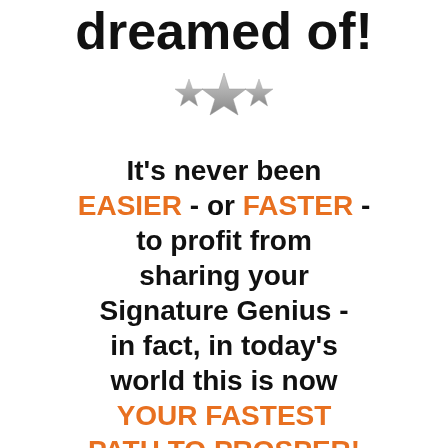dreamed of!
[Figure (illustration): Three stars: two smaller grey stars flanking one larger grey star in the center]
It's never been EASIER - or FASTER - to profit from sharing your Signature Genius - in fact, in today's world this is now YOUR FASTEST PATH TO PROSPER!